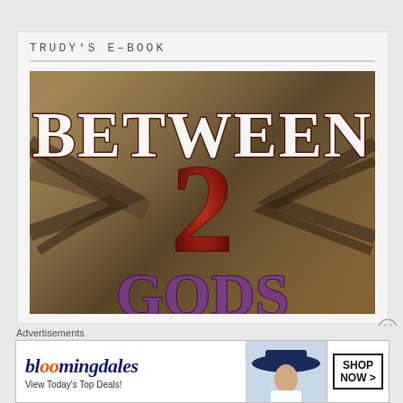TRUDY'S E-BOOK
[Figure (illustration): Book cover for 'Between 2 Gods' showing large stylized text 'BETWEEN' at top, large numeral '2' in red in the middle, and partial text 'GODS' at the bottom, with a textured golden/brown background and dark hair or feather-like imagery.]
Advertisements
[Figure (other): Bloomingdale's advertisement banner: 'bloomingdales' logo in blue italic font with orange dot, tagline 'View Today's Top Deals!', image of woman in hat, and 'SHOP NOW >' button]